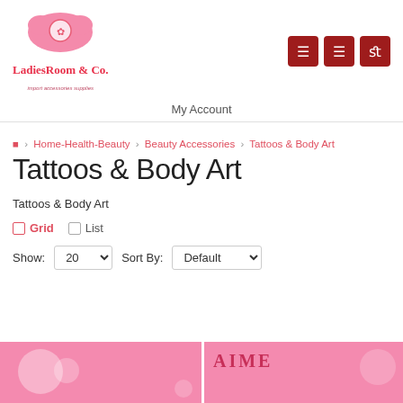LadiesRoom & Co. — import accessories supplies
My Account
🏠 › Home-Health-Beauty › Beauty Accessories › Tattoos & Body Art
Tattoos & Body Art
Tattoos & Body Art
Grid  List
Show: 20  Sort By: Default